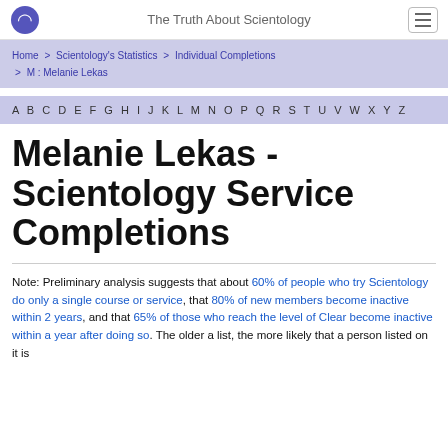The Truth About Scientology
Home > Scientology's Statistics > Individual Completions > M : Melanie Lekas
A B C D E F G H I J K L M N O P Q R S T U V W X Y Z
Melanie Lekas - Scientology Service Completions
Note: Preliminary analysis suggests that about 60% of people who try Scientology do only a single course or service, that 80% of new members become inactive within 2 years, and that 65% of those who reach the level of Clear become inactive within a year after doing so. The older a list, the more likely that a person listed on it is